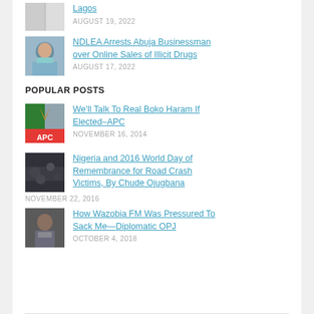Lagos
AUGUST 19, 2022
NDLEA Arrests Abuja Businessman over Online Sales of Illicit Drugs
AUGUST 17, 2022
POPULAR POSTS
We'll Talk To Real Boko Haram If Elected–APC
NOVEMBER 16, 2014
Nigeria and 2016 World Day of Remembrance for Road Crash Victims, By Chude Ojugbana
NOVEMBER 22, 2016
How Wazobia FM Was Pressured To Sack Me—Diplomatic OPJ
OCTOBER 4, 2018